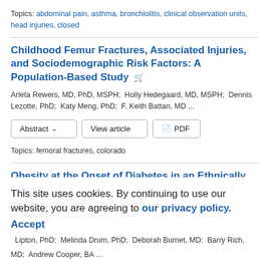Topics: abdominal pain, asthma, bronchiolitis, clinical observation units, head injuries, closed
Childhood Femur Fractures, Associated Injuries, and Sociodemographic Risk Factors: A Population-Based Study
Arleta Rewers, MD, PhD, MSPH;  Holly Hedegaard, MD, MSPH;  Dennis Lezotte, PhD;  Katy Meng, PhD;  F. Keith Battan, MD ...
Topics: femoral fractures, colorado
Obesity at the Onset of Diabetes in an Ethnically Diverse Population of Children: What Results Mean for Epidemiologist and Clinician 3 7
Lipton, PhD;  Melinda Drum, PhD;  Deborah Burnet, MD;  Barry Rich, MD;  Andrew Cooper, BA ...
This site uses cookies. By continuing to use our website, you are agreeing to our privacy policy. Accept